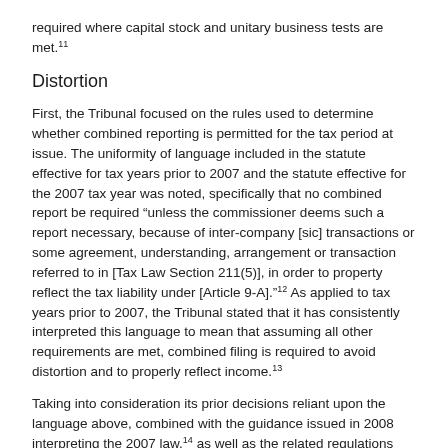required where capital stock and unitary business tests are met.11
Distortion
First, the Tribunal focused on the rules used to determine whether combined reporting is permitted for the tax period at issue. The uniformity of language included in the statute effective for tax years prior to 2007 and the statute effective for the 2007 tax year was noted, specifically that no combined report be required "unless the commissioner deems such a report necessary, because of inter-company [sic] transactions or some agreement, understanding, arrangement or transaction referred to in [Tax Law Section 211(5)], in order to property reflect the tax liability under [Article 9-A]."12 As applied to tax years prior to 2007, the Tribunal stated that it has consistently interpreted this language to mean that assuming all other requirements are met, combined filing is required to avoid distortion and to properly reflect income.13
Taking into consideration its prior decisions reliant upon the language above, combined with the guidance issued in 2008 interpreting the 2007 law,14 as well as the related regulations which became effective in 2013,15 the Tribunal concluded that New York